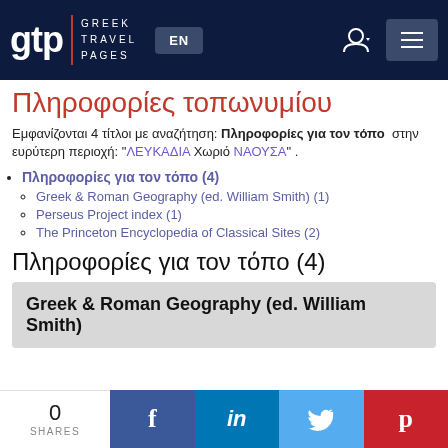gtp | GREEK TRAVEL PAGES — EN
Πληροφορίες τοπωνυμίου
Εμφανίζονται 4 τίτλοι με αναζήτηση: Πληροφορίες για τον τόπο  στην ευρύτερη περιοχή: "ΛΕΥΚΑΔΙΑ Χωριό ΝΑΟΥΣΑ" .
Πληροφορίες για τον τόπο (4)
Greek & Roman Geography (ed. William Smith) (1)
Perseus Project index (1)
The Princeton Encyclopedia of Classical Sites (2)
Πληροφορίες για τον τόπο (4)
Greek & Roman Geography (ed. William Smith)
0 SHARES  f  in  Twitter  Pinterest